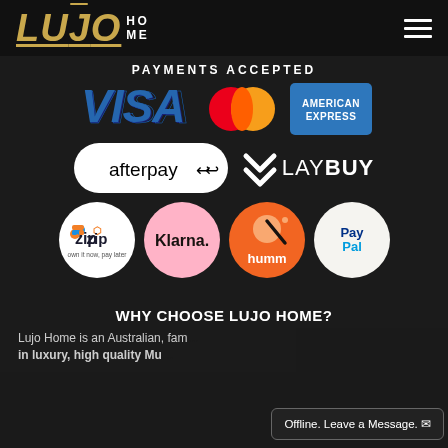[Figure (logo): Lujo Home logo with gold italic LUJO text and white HOME stacked text on dark background, with hamburger menu icon top right]
PAYMENTS ACCEPTED
[Figure (infographic): Payment method logos: Visa (blue), Mastercard (red/orange circles), American Express (blue), Afterpay (white pill), Laybuy (white chevron + text), Zip (white circle), Klarna (pink circle), Humm (orange circle), PayPal (white circle)]
WHY CHOOSE LUJO HOME?
Lujo Home is an Australian, fam... in luxury, high quality Mu...
Offline. Leave a Message.